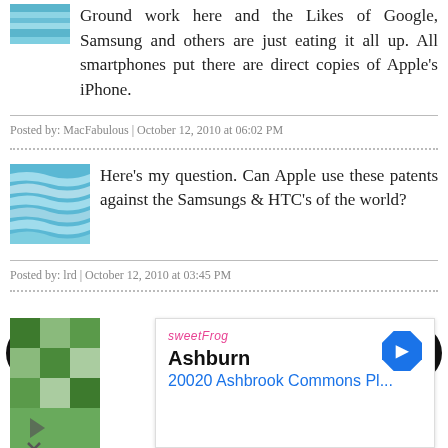[Figure (illustration): Small blue streaky avatar image at top left]
Ground work here and the Likes of Google, Samsung and others are just eating it all up. All smartphones put there are direct copies of Apple's iPhone.
Posted by: MacFabulous | October 12, 2010 at 06:02 PM
[Figure (illustration): Blue wavy lines avatar image]
Here's my question. Can Apple use these patents against the Samsungs & HTC's of the world?
Posted by: lrd | October 12, 2010 at 03:45 PM
[Figure (illustration): Advertisement overlay: Ashburn 20020 Ashbrook Commons Pl... with SweetFrog branding and navigation arrow icon]
[Figure (illustration): Left navigation arrow (back)]
[Figure (illustration): Right navigation arrow (forward)]
[Figure (illustration): Partial green mosaic avatar at bottom left]